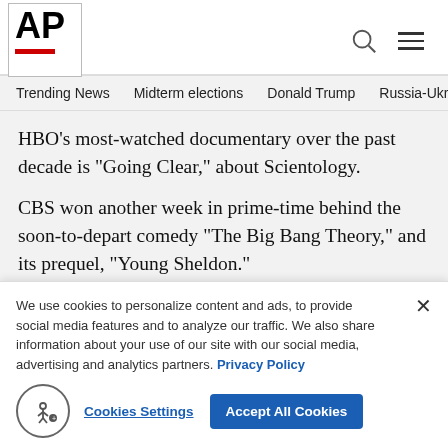AP
Trending News  Midterm elections  Donald Trump  Russia-Ukr
HBO's most-watched documentary over the past decade is “Going Clear,” about Scientology.
CBS won another week in prime-time behind the soon-to-depart comedy “The Big Bang Theory,” and its prequel, “Young Sheldon.”
CBS averaged 5.8 million viewers i
[Figure (photo): Partial image of a person partially obscured, visible on right side of page]
We use cookies to personalize content and ads, to provide social media features and to analyze our traffic. We also share information about your use of our site with our social media, advertising and analytics partners. Privacy Policy
Cookies Settings  Accept All Cookies